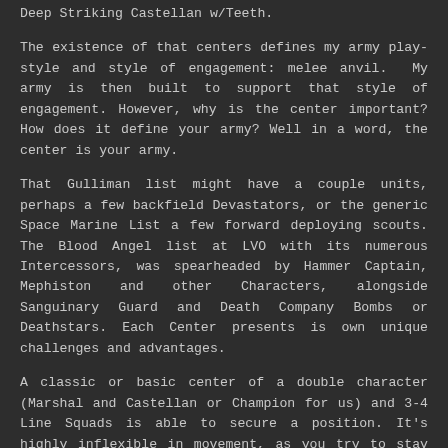Deep Striking Castellan w/Teeth.
The existence of that centers defines my army play-style and style of engagement: melee anvil. My army is then built to support that style of engagement. However, why is the center important? How does it define your army? Well in a word, the center is your army.
That Gulliman list might have a couple units, perhaps a few backfield Devastators, or the generic Space Marine List a few forward deploying scouts. The Blood Angel list at LVO with its numerous Intercessors, was spearheaded by Hammer Captain, Mephiston and other Characters, alongside Sanguinary Guard and Death Company Bombs or Deathstars. Each Center presents is own unique challenges and advantages.
A classic or basic center of a double character (Marshal and Castellan or Champion for us) and 3-4 Line Squads is able to secure a position. It's highly inflexible in movement, as you try to stay bubbled. That inflexibility renders is vulnerable to flanking. If an enemy say Scion Squad hits your left flank. A classic center needs to delegate or separate one of its line squad to handle the